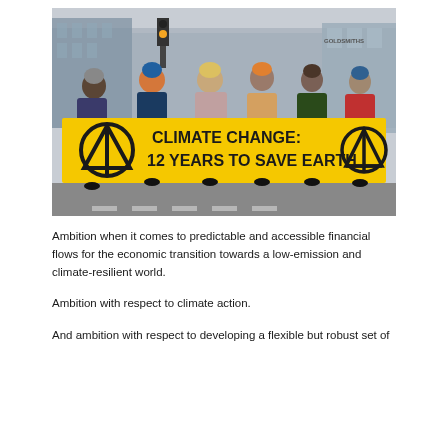[Figure (photo): Protesters holding a large yellow banner reading 'CLIMATE CHANGE: 12 YEARS TO SAVE EARTH' with the Extinction Rebellion hourglass symbol on both ends, standing on a street in an urban area.]
Ambition when it comes to predictable and accessible financial flows for the economic transition towards a low-emission and climate-resilient world.
Ambition with respect to climate action.
And ambition with respect to developing a flexible but robust set of